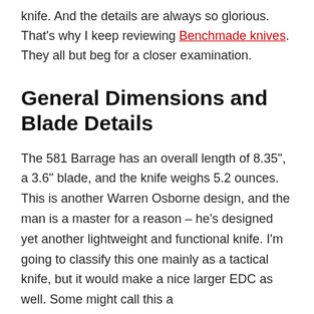knife. And the details are always so glorious. That's why I keep reviewing Benchmade knives. They all but beg for a closer examination.
General Dimensions and Blade Details
The 581 Barrage has an overall length of 8.35", a 3.6" blade, and the knife weighs 5.2 ounces. This is another Warren Osborne design, and the man is a master for a reason – he's designed yet another lightweight and functional knife. I'm going to classify this one mainly as a tactical knife, but it would make a nice larger EDC as well. Some might call this a